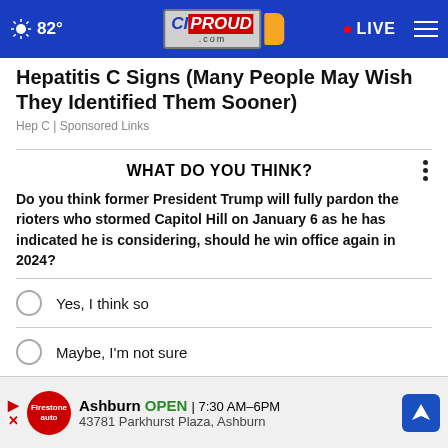82° CIPROUD.com • LIVE
Hepatitis C Signs (Many People May Wish They Identified Them Sooner)
Hep C | Sponsored Links
WHAT DO YOU THINK?
Do you think former President Trump will fully pardon the rioters who stormed Capitol Hill on January 6 as he has indicated he is considering, should he win office again in 2024?
Yes, I think so
Maybe, I'm not sure
No, I don't think so
Other
Ashburn OPEN 7:30 AM–6PM 43781 Parkhurst Plaza, Ashburn